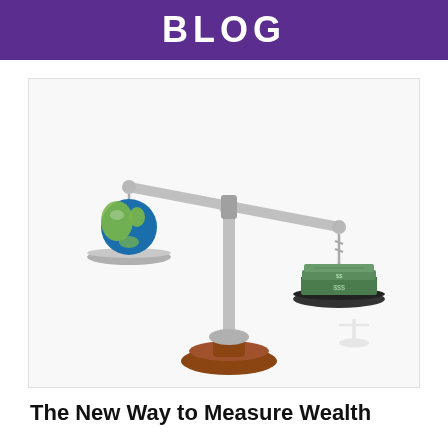BLOG
[Figure (illustration): A balance scale (justice/weighing scale) with a globe (Earth) on the left raised pan and a stack of money/dollar bills on the right lower pan, tilted to show money outweighing the world. The scale has a silver metallic beam and chains, with a wooden brown base.]
The New Way to Measure Wealth